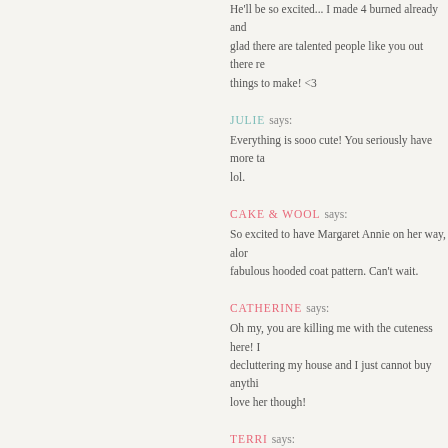He'll be so excited... I made 4 burned already and glad there are talented people like you out there reading things to make! <3
JULIE says: Everything is sooo cute! You seriously have more ta… lol.
CAKE & WOOL says: So excited to have Margaret Annie on her way, along with that fabulous hooded coat pattern. Can't wait.
CATHERINE says: Oh my, you are killing me with the cuteness here! I… decluttering my house and I just cannot buy anythi… love her though!
TERRI says: What a wonderful selection! I'm so excited to be ma… just for myself, but she will be a special one. Thank you!